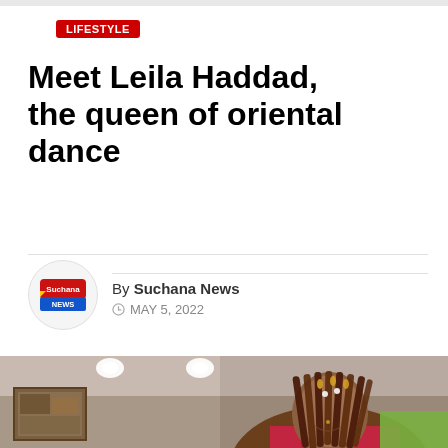Meet Leila Haddad, the queen of oriental dance
By Suchana News
MAY 5, 2022
[Figure (photo): Photo of Leila Haddad, a woman with long dark beaded braids decorated with golden accessories, smiling, wearing colorful traditional attire. Background shows an indoor setting with ceiling lights and artwork on the wall.]